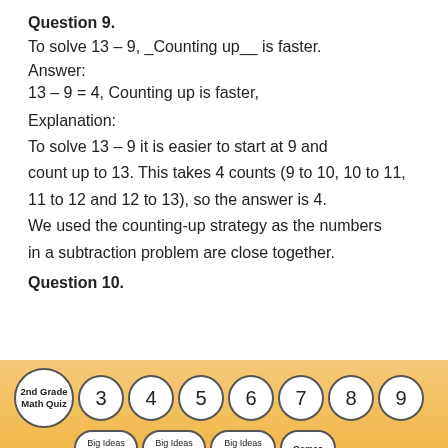Question 9.
To solve 13 – 9, _Counting up__ is faster.
Answer:
13 – 9 = 4, Counting up is faster,
Explanation:
To solve 13 – 9 it is easier to start at 9 and count up to 13. This takes 4 counts (9 to 10, 10 to 11, 11 to 12 and 12 to 13), so the answer is 4. We used the counting-up strategy as the numbers in a subtraction problem are close together.
Question 10.
[Figure (infographic): Navigation badges bar with '2nd Grade Math Quiz' main badge and numbered badges 3-9, plus sub-topic badges: Big Ideas Algebra 1, Big Ideas Algebra 2, Big Ideas Geometry, Games]